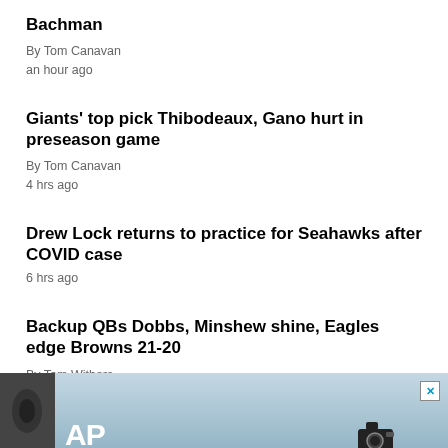Bachman
By Tom Canavan
an hour ago
Giants' top pick Thibodeaux, Gano hurt in preseason game
By Tom Canavan
4 hrs ago
Drew Lock returns to practice for Seahawks after COVID case
6 hrs ago
Backup QBs Dobbs, Minshew shine, Eagles edge Browns 21-20
By Tom Withers
7 hrs ago
[Figure (photo): AP advertisement banner at the bottom of the page showing AP logo and a camera in the background]